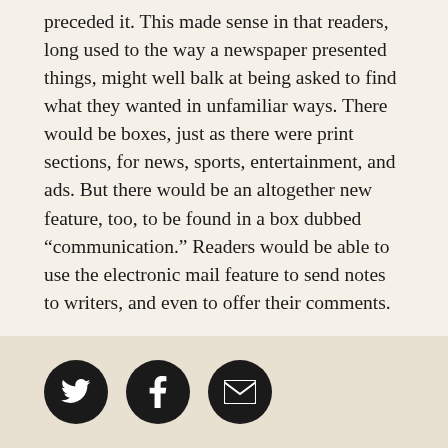preceded it. This made sense in that readers, long used to the way a newspaper presented things, might well balk at being asked to find what they wanted in unfamiliar ways. There would be boxes, just as there were print sections, for news, sports, entertainment, and ads. But there would be an altogether new feature, too, to be found in a box dubbed “communication.” Readers would be able to use the electronic mail feature to send notes to writers, and even to offer their comments.
In late April 1993, the Mercury News began running small promotional ads, heralding the coming of its new electronic feature. Subscribers were directed to the paper’s circulation department, which would mail
[Figure (other): Three circular social sharing buttons: Twitter (bird icon), Facebook (f icon), Email (envelope icon), displayed on a tan/beige background bar at the bottom of the page.]